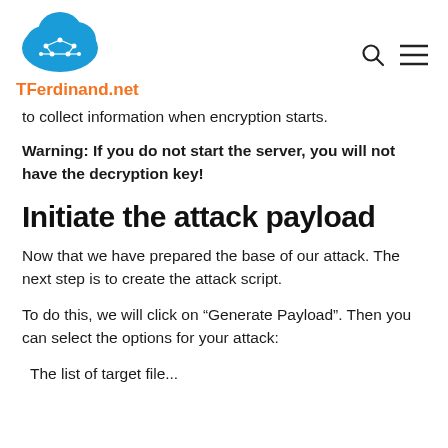TFerdinand.net
to collect information when encryption starts.
Warning: If you do not start the server, you will not have the decryption key!
Initiate the attack payload
Now that we have prepared the base of our attack. The next step is to create the attack script.
To do this, we will click on “Generate Payload”. Then you can select the options for your attack:
The list of target file...